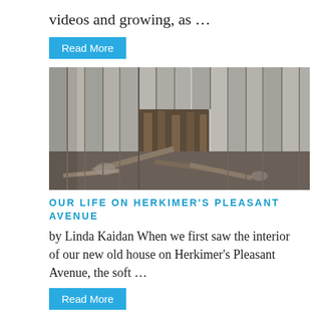videos and growing, as …
Read More
[Figure (photo): Damaged wooden fence with broken planks and debris scattered on the ground in front of it.]
OUR LIFE ON HERKIMER'S PLEASANT AVENUE
by Linda Kaidan When we first saw the interior of our new old house on Herkimer's Pleasant Avenue, the soft …
Read More